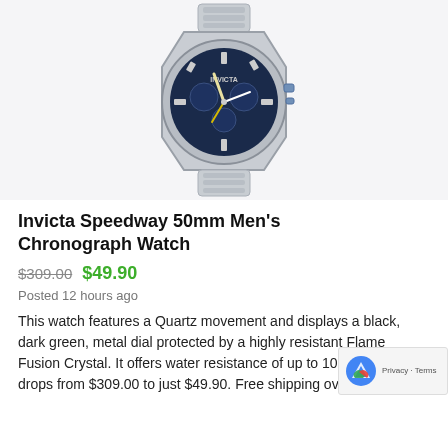[Figure (photo): Invicta Speedway 50mm Men's Chronograph Watch product photo, silver stainless steel bracelet and case with blue dial]
Invicta Speedway 50mm Men's Chronograph Watch
$309.00 $49.90
Posted 12 hours ago
This watch features a Quartz movement and displays a black, dark green, metal dial protected by a highly resistant Flame Fusion Crystal. It offers water resistance of up to 100 m. The price drops from $309.00 to just $49.90. Free shipping over $149.